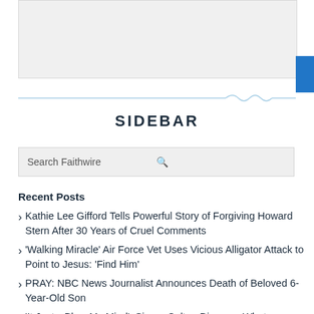[Figure (other): Gray box representing an advertisement or image placeholder at top of sidebar]
SIDEBAR
Search Faithwire
Recent Posts
Kathie Lee Gifford Tells Powerful Story of Forgiving Howard Stern After 30 Years of Cruel Comments
'Walking Miracle' Air Force Vet Uses Vicious Alligator Attack to Point to Jesus: 'Find Him'
PRAY: NBC News Journalist Announces Death of Beloved 6-Year-Old Son
'It Just…Blew My Mind': Singer Colton Dixon on What Hollywood Gets Wrong About Noah, a Real-Life